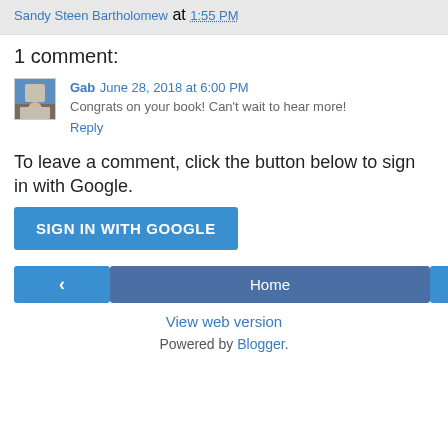Sandy Steen Bartholomew at 1:55 PM
1 comment:
Gab June 28, 2018 at 6:00 PM
Congrats on your book! Can't wait to hear more!
Reply
To leave a comment, click the button below to sign in with Google.
[Figure (other): SIGN IN WITH GOOGLE button]
[Figure (other): Navigation row with left arrow, Home, and right arrow buttons]
View web version
Powered by Blogger.